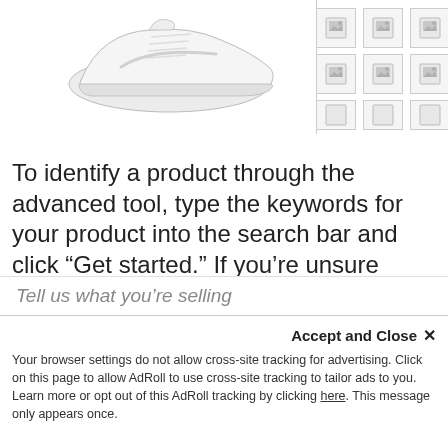[Figure (screenshot): Screenshot of a product listing page showing a white Nike sneaker/shoe as the main product image with a grid of thumbnail image placeholders to the right]
To identify a product through the advanced tool, type the keywords for your product into the search bar and click “Get started.” If you’re unsure which keywords to enter, identify your product by clicking “Browse categories” and select the category and subcategories that best match your item. For example, if you’re selling a book, you can then select the book’s genre.
Tell us what you’re selling
Accept and Close ×
Your browser settings do not allow cross-site tracking for advertising. Click on this page to allow AdRoll to use cross-site tracking to tailor ads to you. Learn more or opt out of this AdRoll tracking by clicking here. This message only appears once.